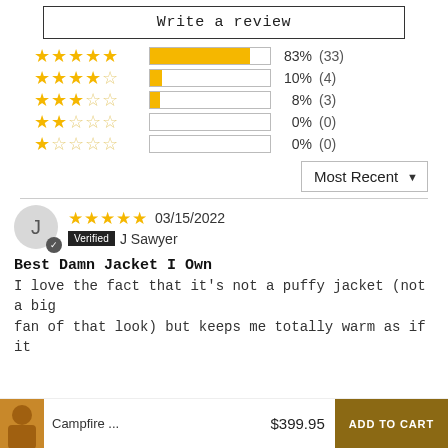Write a review
[Figure (bar-chart): Star rating distribution]
Most Recent
03/15/2022
Verified   J Sawyer
Best Damn Jacket I Own
I love the fact that it's not a puffy jacket (not a big fan of that look) but keeps me totally warm as if it
Campfire ...
$399.95
ADD TO CART